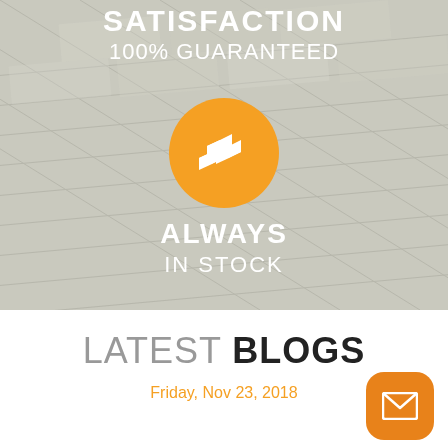SATISFACTION
100% GUARANTEED
[Figure (illustration): Orange circle with white 3D boxes/cubes icon in center, overlaid on a background of diagonal concrete or paving tiles]
ALWAYS IN STOCK
LATEST BLOGS
Friday, Nov 23, 2018
[Figure (illustration): Orange rounded square button with white envelope/mail icon]